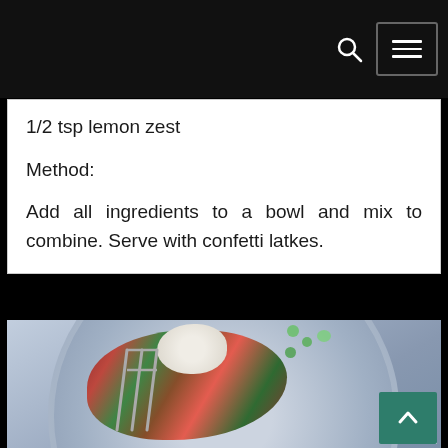1/2 tsp lemon zest
Method:
Add all ingredients to a bowl and mix to combine. Serve with confetti latkes.
[Figure (photo): A purple/lavender plate with confetti latkes topped with a cream sauce, garnished with chopped green herbs, with a silver fork resting on the food.]